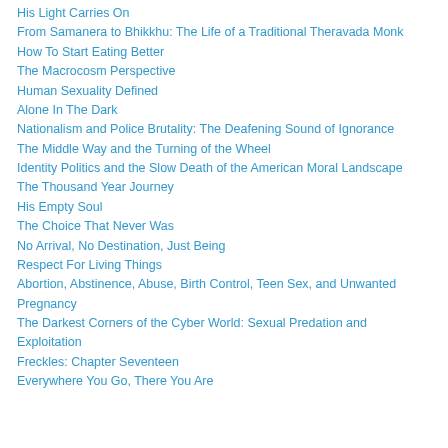His Light Carries On
From Samanera to Bhikkhu: The Life of a Traditional Theravada Monk
How To Start Eating Better
The Macrocosm Perspective
Human Sexuality Defined
Alone In The Dark
Nationalism and Police Brutality: The Deafening Sound of Ignorance
The Middle Way and the Turning of the Wheel
Identity Politics and the Slow Death of the American Moral Landscape
The Thousand Year Journey
His Empty Soul
The Choice That Never Was
No Arrival, No Destination, Just Being
Respect For Living Things
Abortion, Abstinence, Abuse, Birth Control, Teen Sex, and Unwanted Pregnancy
The Darkest Corners of the Cyber World: Sexual Predation and Exploitation
Freckles: Chapter Seventeen
Everywhere You Go, There You Are